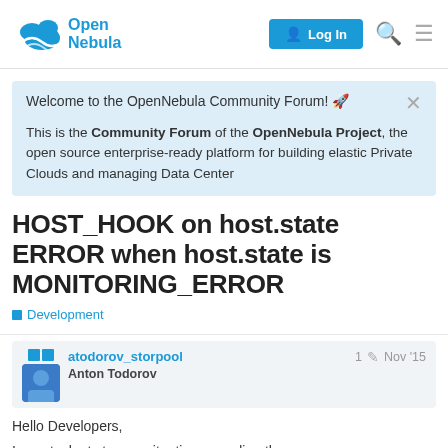Open Nebula — Log In
Welcome to the OpenNebula Community Forum! 🚀
This is the Community Forum of the OpenNebula Project, the open source enterprise-ready platform for building elastic Private Clouds and managing Data Center
HOST_HOOK on host.state ERROR when host.state is MONITORING_ERROR
Development
atodorov_storpool  Anton Todorov  1  Nov '15
Hello Developers,
I am stuck at strange situation regarding th
1 / 2